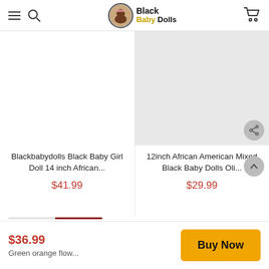Black Baby Dolls
[Figure (screenshot): Product listing page showing two product items]
Blackbabydolls Black Baby Girl Doll 14 inch African...
$41.99
12inch African American Mixed Black Baby Dolls Oli...
$29.99
$36.99
Green orange flow...
Buy Now